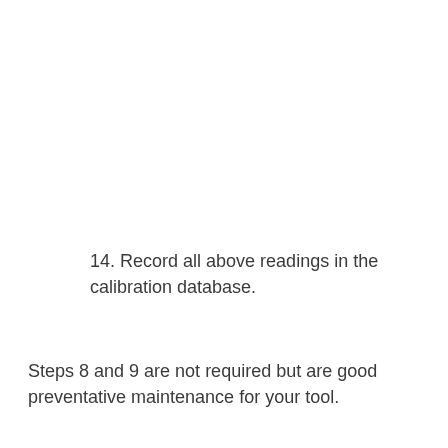14. Record all above readings in the calibration database.
Steps 8 and 9 are not required but are good preventative maintenance for your tool.